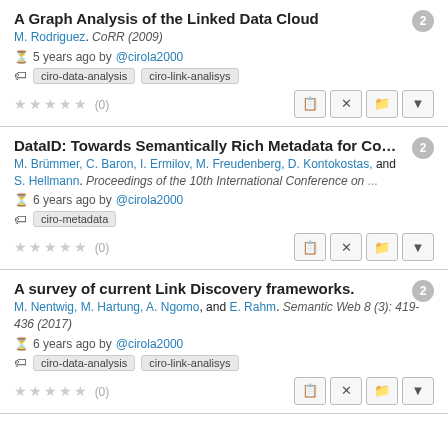A Graph Analysis of the Linked Data Cloud
M. Rodriguez. CoRR (2009)
5 years ago by @cirola2000
ciro-data-analysis  ciro-link-analisys
★★★★★ (0)
DataID: Towards Semantically Rich Metadata for Co…
M. Brümmer, C. Baron, I. Ermilov, M. Freudenberg, D. Kontokostas, and S. Hellmann. Proceedings of the 10th International Conference on  ...
6 years ago by @cirola2000
ciro-metadata
★★★★★ (0)
A survey of current Link Discovery frameworks.
M. Nentwig, M. Hartung, A. Ngomo, and E. Rahm. Semantic Web 8 (3): 419-436 (2017)
6 years ago by @cirola2000
ciro-data-analysis  ciro-link-analisys
★★★★★ (0)